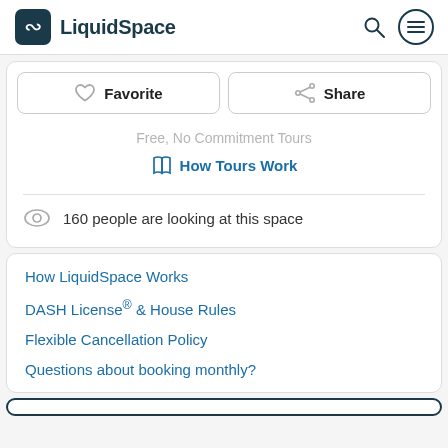LiquidSpace
Favorite
Share
Free, No Commitment Tours
How Tours Work
160 people are looking at this space
How LiquidSpace Works
DASH License® & House Rules
Flexible Cancellation Policy
Questions about booking monthly?